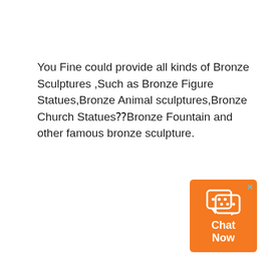You Fine could provide all kinds of Bronze Sculptures ,Such as Bronze Figure Statues,Bronze Animal sculptures,Bronze Church Statues⁇Bronze Fountain and other famous bronze sculpture.
[Figure (other): Orange chat widget button in the bottom-right corner with a speech bubble icon and 'Chat Now' label, with a cyan X close button in the top-right of the widget.]